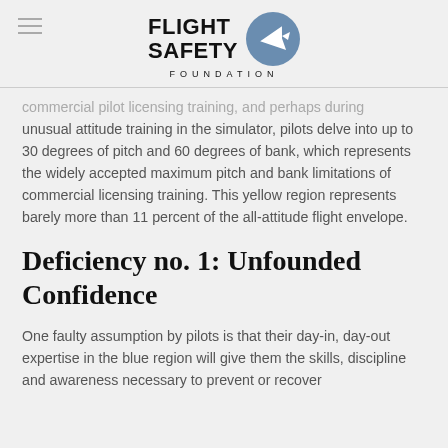FLIGHT SAFETY FOUNDATION
commercial pilot licensing training, and perhaps during unusual attitude training in the simulator, pilots delve into up to 30 degrees of pitch and 60 degrees of bank, which represents the widely accepted maximum pitch and bank limitations of commercial licensing training. This yellow region represents barely more than 11 percent of the all-attitude flight envelope.
Deficiency no. 1: Unfounded Confidence
One faulty assumption by pilots is that their day-in, day-out expertise in the blue region will give them the skills, discipline and awareness necessary to prevent or recover